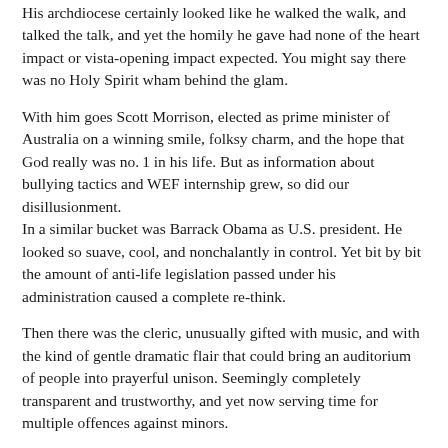His archdiocese certainly looked like he walked the walk, and talked the talk, and yet the homily he gave had none of the heart impact or vista-opening impact expected. You might say there was no Holy Spirit wham behind the glam.
With him goes Scott Morrison, elected as prime minister of Australia on a winning smile, folksy charm, and the hope that God really was no. 1 in his life. But as information about bullying tactics and WEF internship grew, so did our disillusionment.
In a similar bucket was Barrack Obama as U.S. president. He looked so suave, cool, and nonchalantly in control. Yet bit by bit the amount of anti-life legislation passed under his administration caused a complete re-think.
Then there was the cleric, unusually gifted with music, and with the kind of gentle dramatic flair that could bring an auditorium of people into prayerful unison. Seemingly completely transparent and trustworthy, and yet now serving time for multiple offences against minors.
To which must be added the cleric with outstanding oratorial and